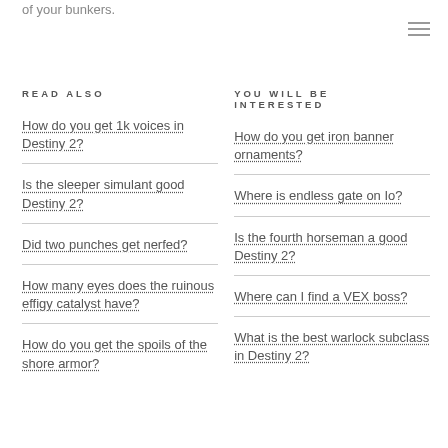of your bunkers.
READ ALSO
How do you get 1k voices in Destiny 2?
Is the sleeper simulant good Destiny 2?
Did two punches get nerfed?
How many eyes does the ruinous effigy catalyst have?
How do you get the spoils of the shore armor?
YOU WILL BE INTERESTED
How do you get iron banner ornaments?
Where is endless gate on Io?
Is the fourth horseman a good Destiny 2?
Where can I find a VEX boss?
What is the best warlock subclass in Destiny 2?